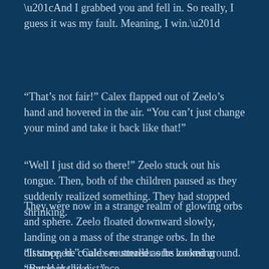“And I grabbed you and fell in. So really, I guess it was my fault. Meaning, I win.”
“That’s not fair!” Calex flapped out of Zeelo’s hand and hovered in the air. “You can’t just change your mind and take it back like that!”
“Well I just did so there!” Zeelo stuck out his tongue. Then, both of the children paused as they suddenly realized something. They had stopped shrinking.
They were now in a strange realm of glowing orbs and sphere. Zeelo floated downward slowly, landing on a mass of the strange orbs. In the distance, he could see smaller orbs zooming around in the distance.
“It stopped.” Calex muttered as he looked around. “But looks like…”